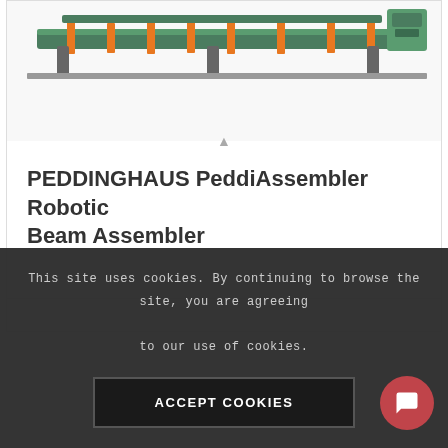[Figure (photo): Industrial machine - PEDDINGHAUS PeddiAssembler Robotic Beam Assembler, showing green and orange mechanical equipment on a rail system]
PEDDINGHAUS PeddiAssembler Robotic Beam Assembler
Add to Quote List
Show Details
This site uses cookies. By continuing to browse the site, you are agreeing to our use of cookies.
ACCEPT COOKIES